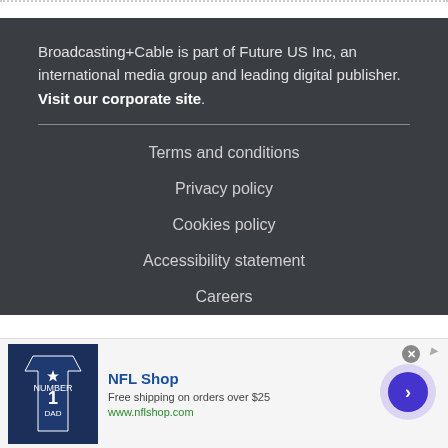Broadcasting+Cable is part of Future US Inc, an international media group and leading digital publisher. Visit our corporate site.
Terms and conditions
Privacy policy
Cookies policy
Accessibility statement
Careers
[Figure (infographic): NFL Shop advertisement banner: image of Dallas Cowboys jersey shirt, text 'NFL Shop', 'Free shipping on orders over $25', 'www.nflshop.com', and a circular arrow button on the right.]